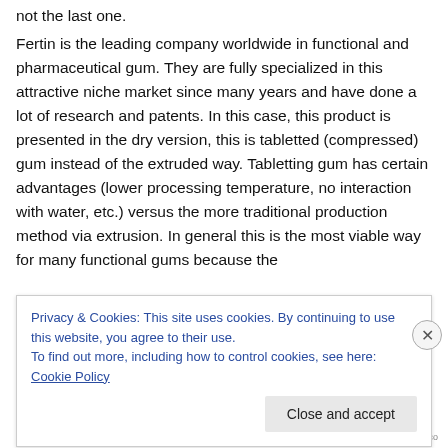not the last one.
Fertin is the leading company worldwide in functional and pharmaceutical gum. They are fully specialized in this attractive niche market since many years and have done a lot of research and patents. In this case, this product is presented in the dry version, this is tabletted (compressed) gum instead of the extruded way. Tabletting gum has certain advantages (lower processing temperature, no interaction with water, etc.) versus the more traditional production method via extrusion. In general this is the most viable way for many functional gums because the
Privacy & Cookies: This site uses cookies. By continuing to use this website, you agree to their use.
To find out more, including how to control cookies, see here: Cookie Policy
Close and accept